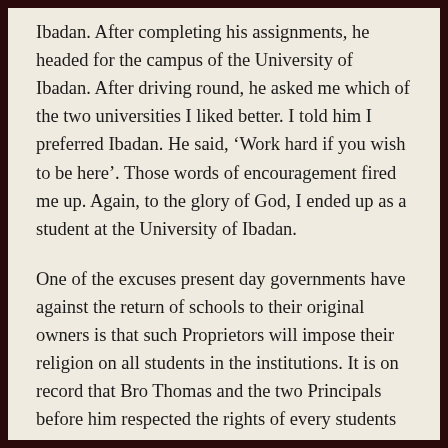Ibadan. After completing his assignments, he headed for the campus of the University of Ibadan. After driving round, he asked me which of the two universities I liked better. I told him I preferred Ibadan. He said, 'Work hard if you wish to be here'. Those words of encouragement fired me up. Again, to the glory of God, I ended up as a student at the University of Ibadan.
One of the excuses present day governments have against the return of schools to their original owners is that such Proprietors will impose their religion on all students in the institutions. It is on record that Bro Thomas and the two Principals before him respected the rights of every students to practice their religion unhindered. The Anglican students were allowed to go to the Cathedral in